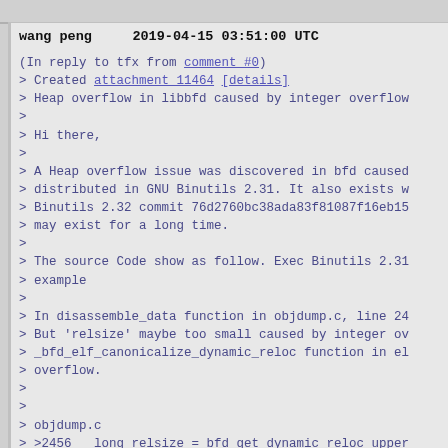wang peng   2019-04-15 03:51:00 UTC
(In reply to tfx from comment #0)
> Created attachment 11464 [details]
> Heap overflow in libbfd caused by integer overflow
>
> Hi there,
>
> A Heap overflow issue was discovered in bfd caused
> distributed in GNU Binutils 2.31. It also exists w
> Binutils 2.32 commit 76d2760bc38ada83f81087f16eb15
> may exist for a long time.
>
> The source Code show as follow. Exec Binutils 2.31
> example
>
> In disassemble_data function in objdump.c, line 24
> But 'relsize' maybe too small caused by integer ov
> _bfd_elf_canonicalize_dynamic_reloc function in el
> overflow.
>
>
> objdump.c
> >2456  long relsize = bfd_get_dynamic_reloc_upper_
>
> >2463    aux.dynrelbuf = (arelent **) xmalloc (rel
> >2464    aux.dynrelcount = bfd_canonicalize_dynami
> >2465